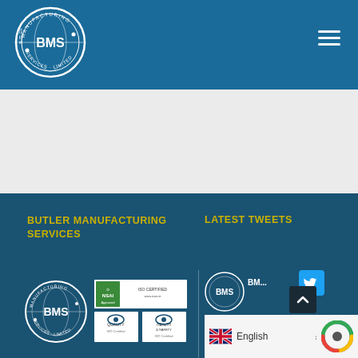[Figure (logo): BMS Butler Manufacturing Services circular logo in white on blue header]
[Figure (illustration): Hamburger menu icon (three white horizontal lines) in top right of blue header]
[Figure (other): White/light grey content area below header, no visible content]
BUTLER MANUFACTURING SERVICES
LATEST TWEETS
[Figure (logo): BMS circular logo in the bottom dark blue footer area]
[Figure (other): NSAI certification badges and quality/health & safety logos in footer]
[Figure (logo): BMS circular logo in tweet card area]
BM...
[Figure (illustration): Twitter bird icon in teal/blue]
[Figure (illustration): UK flag icon]
English
[Figure (other): reCAPTCHA logo]